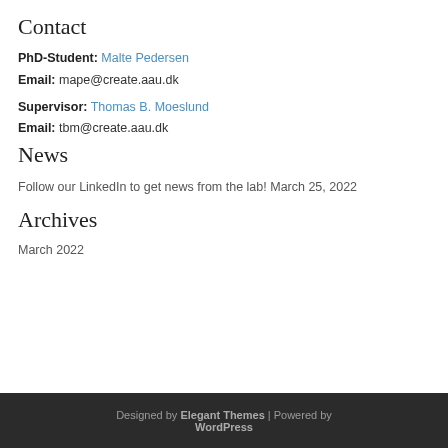Contact
PhD-Student: Malte Pedersen
Email: mape@create.aau.dk
Supervisor: Thomas B. Moeslund
Email: tbm@create.aau.dk
News
Follow our LinkedIn to get news from the lab! March 25, 2022
Archives
March 2022
Designed by Elegant Themes | Powered by WordPress